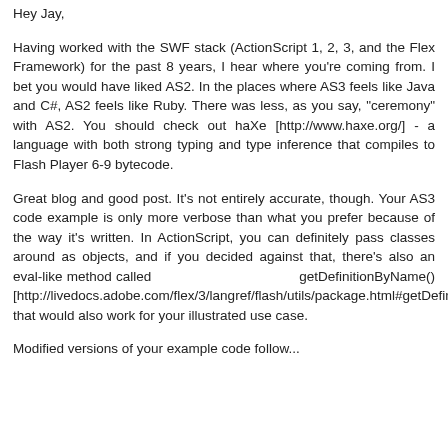Hey Jay,
Having worked with the SWF stack (ActionScript 1, 2, 3, and the Flex Framework) for the past 8 years, I hear where you're coming from. I bet you would have liked AS2. In the places where AS3 feels like Java and C#, AS2 feels like Ruby. There was less, as you say, "ceremony" with AS2. You should check out haXe [http://www.haxe.org/] - a language with both strong typing and type inference that compiles to Flash Player 6-9 bytecode.
Great blog and good post. It's not entirely accurate, though. Your AS3 code example is only more verbose than what you prefer because of the way it's written. In ActionScript, you can definitely pass classes around as objects, and if you decided against that, there's also an eval-like method called getDefinitionByName() [http://livedocs.adobe.com/flex/3/langref/flash/utils/package.html#getDefinitionByName()] that would also work for your illustrated use case.
Modified versions of your example code follow...